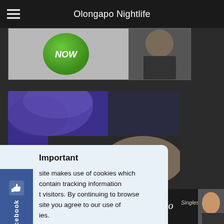Olongapo Nightlife
[Figure (photo): Partial banner ad showing a green button labeled NOW and a female figure in dark clothing]
[Figure (photo): Partial photo showing blue/purple lace fabric against a dark surface]
Important

site makes use of cookies which contain tracking information t visitors. By continuing to browse site you agree to our use of ies.
[Figure (screenshot): Facebook sidebar widget with thumbs-up icon and 'facebook' text label]
[Figure (photo): Bottom banner ad for FilipinoCupid.com with heart logo, JOIN FREE NOW green button, Meet Filipino Singles text, and portrait of a woman]